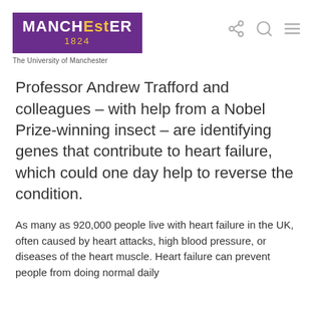MANCHESTER 1824 – The University of Manchester
Professor Andrew Trafford and colleagues – with help from a Nobel Prize-winning insect – are identifying genes that contribute to heart failure, which could one day help to reverse the condition.
As many as 920,000 people live with heart failure in the UK, often caused by heart attacks, high blood pressure, or diseases of the heart muscle. Heart failure can prevent people from doing normal daily